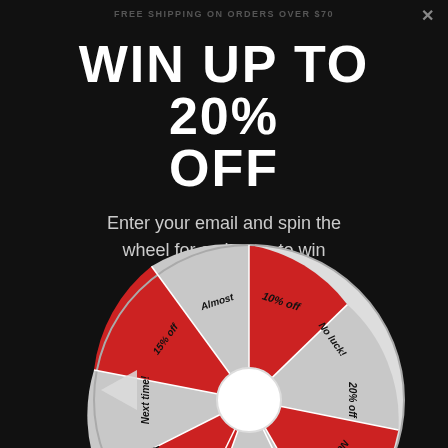FREE SHIPPING ON ORDERS OVER $70
WIN UP TO 20% OFF
Enter your email and spin the wheel for a chance to win
[Figure (infographic): A prize spin wheel with alternating red and gray segments labeled: 10% off, No luck!, 20% off, Next time!, 15% off, No luck!, 20% off, Next time!, 15% off, Almost. A triangular pointer points to the left side of the wheel. The wheel has a white center hub.]